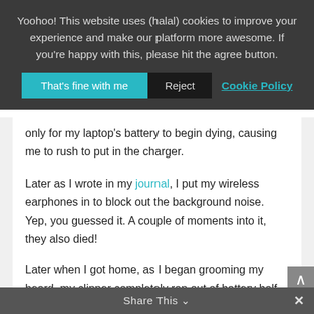Yoohoo! This website uses (halal) cookies to improve your experience and make our platform more awesome. If you're happy with this, please hit the agree button.
That's fine with me | Reject | Cookie Policy
only for my laptop's battery to begin dying, causing me to rush to put in the charger.
Later as I wrote in my journal, I put my wireless earphones in to block out the background noise. Yep, you guessed it. A couple of moments into it, they also died!
Later when I got home, as I began grooming my beard, my clipper completely ran out of battery half way through my shape up. (Don't worry my beard is still alive, Alhamdulillah).
Share This